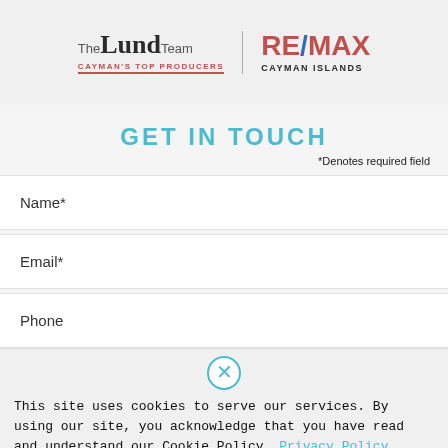[Figure (logo): The Lund Team – Cayman's Top Producers | RE/MAX Cayman Islands logo]
GET IN TOUCH
*Denotes required field
Name*
Email*
Phone
This site uses cookies to serve our services. By using our site, you acknowledge that you have read and understand our Cookie Policy, Privacy Policy. Your use of The Kailani Grand Cayman Curio Collection Hilton is subject to these policies.